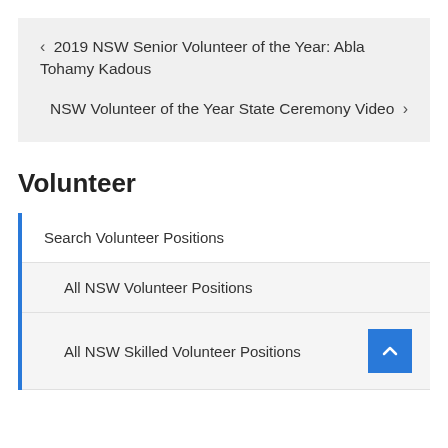< 2019 NSW Senior Volunteer of the Year: Abla Tohamy Kadous
NSW Volunteer of the Year State Ceremony Video >
Volunteer
Search Volunteer Positions
All NSW Volunteer Positions
All NSW Skilled Volunteer Positions